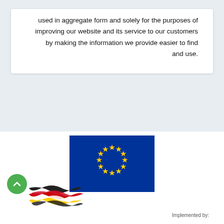used in aggregate form and solely for the purposes of improving our website and its service to our customers by making the information we provide easier to find and use.
[Figure (logo): European Union flag - blue background with 12 yellow stars arranged in a circle]
[Figure (logo): Intertwined German and Egyptian flags forming a wave/ribbon shape]
Implemented by: